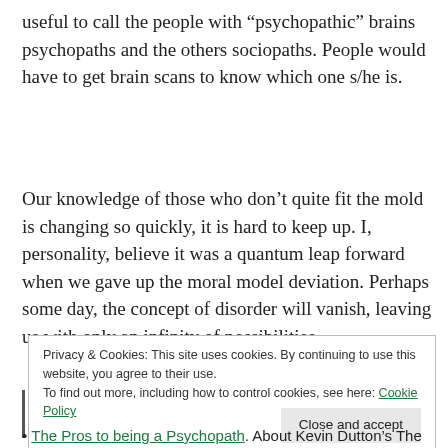useful to call the people with “psychopathic” brains psychopaths and the others sociopaths. People would have to get brain scans to know which one s/he is.
Our knowledge of those who don’t quite fit the mold is changing so quickly, it is hard to keep up. I, personality, believe it was a quantum leap forward when we gave up the moral model deviation. Perhaps some day, the concept of disorder will vanish, leaving us with only an infinity of possibilities.
Privacy & Cookies: This site uses cookies. By continuing to use this website, you agree to their use.
To find out more, including how to control cookies, see here: Cookie Policy
The Pros to being a Psychopath. About Kevin Dutton’s The